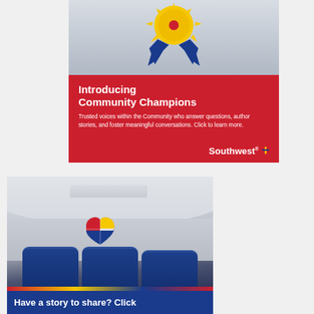[Figure (infographic): Southwest Airlines Community Champions banner with award ribbon icon on grey background and red section with text]
Introducing Community Champions
Trusted voices within the Community who answer questions, author stories, and foster meaningful conversations. Click to learn more.
[Figure (photo): Photo of Southwest Airlines plane interior showing blue seats and Southwest heart logo on cabin wall, with blue banner below reading 'Have a story to share? Click']
Have a story to share? Click